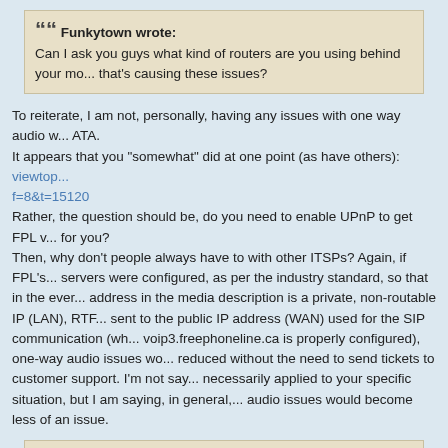Funkytown wrote: Can I ask you guys what kind of routers are you using behind your mo... that's causing these issues?
To reiterate, I am not, personally, having any issues with one way audio w... ATA.
It appears that you "somewhat" did at one point (as have others): viewtop... f=8&t=15120
Rather, the question should be, do you need to enable UPnP to get FPL ... for you?
Then, why don't people always have to with other ITSPs? Again, if FPL's... servers were configured, as per the industry standard, so that in the ever... address in the media description is a private, non-routable IP (LAN), RTF... sent to the public IP address (WAN) used for the SIP communication (wh... voip3.freephoneline.ca is properly configured), one-way audio issues wo... reduced without the need to send tickets to customer support. I'm not say... necessarily applied to your specific situation, but I am saying, in general,... audio issues would become less of an issue.
In the past I do know some people who owned certain NETGEAR versi... low budget routers in which that caused them several problems.